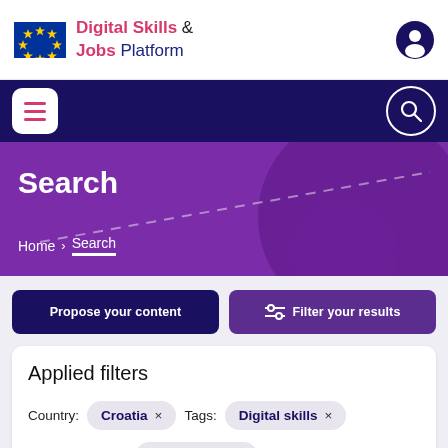Digital Skills & Jobs Platform
Search
Home > Search
Propose your content
Filter your results
Applied filters
Country: Croatia ×   Tags: Digital skills ×
Digital skill level: Intermediate ×